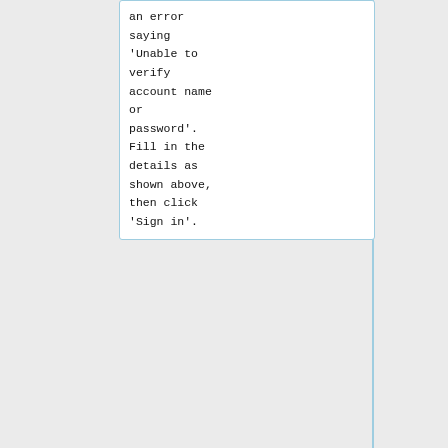an error saying 'Unable to verify account name or password'. Fill in the details as shown above, then click 'Sign in'.
Make sure to specify your WatIAM username as the username, and use <code>mail.cclub.uwator